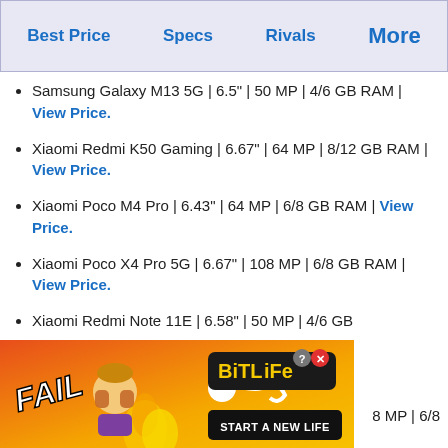Best Price  Specs  Rivals  More
Samsung Galaxy M13 5G | 6.5" | 50 MP | 4/6 GB RAM | View Price.
Xiaomi Redmi K50 Gaming | 6.67" | 64 MP | 8/12 GB RAM | View Price.
Xiaomi Poco M4 Pro | 6.43" | 64 MP | 6/8 GB RAM | View Price.
Xiaomi Poco X4 Pro 5G | 6.67" | 108 MP | 6/8 GB RAM | View Price.
Xiaomi Redmi Note 11E | 6.58" | 50 MP | 4/6 GB
[Figure (other): BitLife advertisement banner: FAIL text, animated character, BitLife logo, START A NEW LIFE button]
8 MP | 6/8